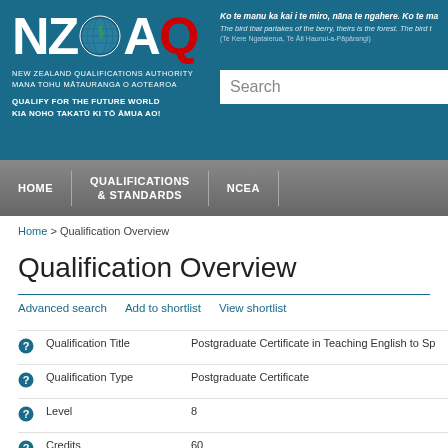[Figure (logo): NZQA logo with globe icon, organization name and tagline]
Ko te manu ka kai i te miro, nāna te ngahere. Ko te ma
The bird that partakes of the berry, theirs is the forest. The bird t
(Te Kere Ngataierua, Te Āti Haunui-a-Pāpārangi)
HOME | QUALIFICATIONS & STANDARDS | NCEA
Home > Qualification Overview
Qualification Overview
Advanced search   Add to shortlist   View shortlist
|  | Field | Value |
| --- | --- | --- |
|  | Qualification Title | Postgraduate Certificate in Teaching English to Sp... |
|  | Qualification Type | Postgraduate Certificate |
|  | Level | 8 |
|  | Credits | 60 |
|  | Subject Area | Education » Teacher Education » Engli... |
|  | Strategic Purpose Statement | Graduates of the PGCertTESOL will demonstrate... |